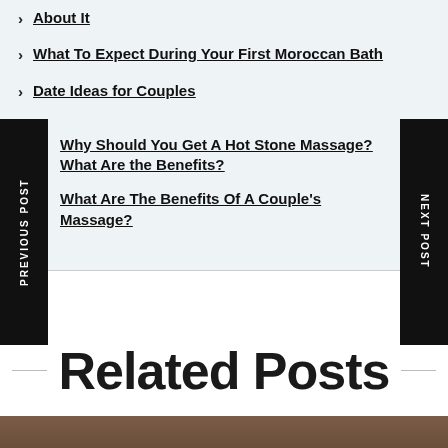About It
What To Expect During Your First Moroccan Bath
Date Ideas for Couples
Why Should You Get A Hot Stone Massage? What Are the Benefits?
What Are The Benefits Of A Couple's Massage?
Related Posts